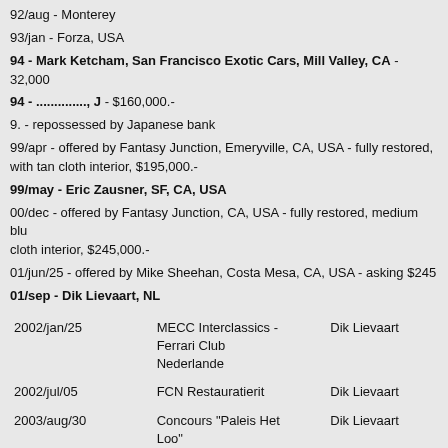92/aug - Monterey
93/jan - Forza, USA
94 - Mark Ketcham, San Francisco Exotic Cars, Mill Valley, CA - 32,000
94 - .............., J - $160,000.-
9. - repossessed by Japanese bank
99/apr - offered by Fantasy Junction, Emeryville, CA, USA - fully restored, with tan cloth interior, $195,000.-
99/may - Eric Zausner, SF, CA, USA
00/dec - offered by Fantasy Junction, CA, USA - fully restored, medium blu cloth interior, $245,000.-
01/jun/25 - offered by Mike Sheehan, Costa Mesa, CA, USA - asking $245
01/sep - Dik Lievaart, NL
| Date | Event | Owner |
| --- | --- | --- |
| 2002/jan/25 | MECC Interclassics - Ferrari Club Nederlande | Dik Lievaart |
| 2002/jul/05 | FCN Restauratierit | Dik Lievaart |
| 2003/aug/30 | Concours "Paleis Het Loo" | Dik Lievaart |
| 2011/aug/06 | Schloss Dyck Classic Days | Dik Lievaart |
| 2011/sep/18 | 2. Schloss Bensberg Classics | Dik Lievaart |